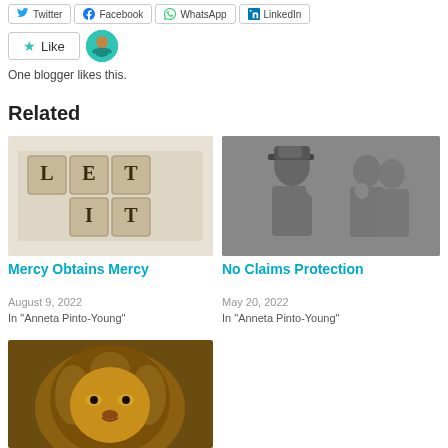Twitter | Facebook | WhatsApp | LinkedIn
Like  One blogger likes this.
Related
[Figure (photo): Scrabble tiles spelling out LET IT GO on a white background]
Mercy Obtains Mercy
August 9, 2022
In "Anneta Pinto-Young"
[Figure (photo): Black and white photo of military drill sergeant yelling at soldiers]
No Claims Protection
May 20, 2022
In "Anneta Pinto-Young"
[Figure (photo): Close-up photo of a lion's face]